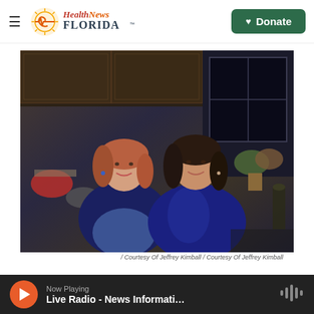Health News Florida — Donate
[Figure (photo): Two women smiling together in a kitchen setting. The woman on the left has auburn/blonde hair and wears a blue apron over a dark jacket. The woman on the right has dark brown hair and wears a blue satin blouse. Kitchen shelves with dishes and plants are visible in the background.]
/ Courtesy Of Jeffrey Kimball / Courtesy Of Jeffrey Kimball
Now Playing
Live Radio - News Informati…